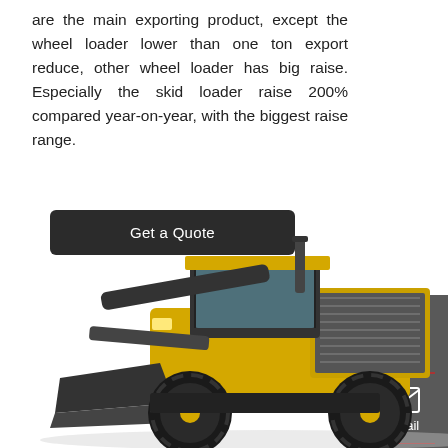are the main exporting product, except the wheel loader lower than one ton export reduce, other wheel loader has big raise. Especially the skid loader raise 200% compared year-on-year, with the biggest raise range.
Get a Quote
[Figure (illustration): Sidebar with Chat, Email, and Contact icons on grey background]
[Figure (photo): Yellow and black wheel loader / front-end loader construction vehicle photographed from front-left angle, showing large black tires and yellow cab]